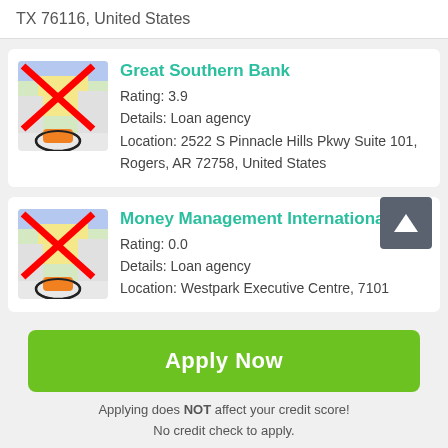TX 76116, United States
Great Southern Bank
Rating: 3.9
Details: Loan agency
Location: 2522 S Pinnacle Hills Pkwy Suite 101, Rogers, AR 72758, United States
Money Management International
Rating: 0.0
Details: Loan agency
Location: Westpark Executive Centre, 7101
Apply Now
Applying does NOT affect your credit score!
No credit check to apply.